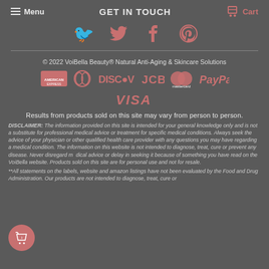Menu  GET IN TOUCH  Cart
[Figure (illustration): Social media icons: Twitter, Facebook, Pinterest in salmon/red color]
© 2022 VoiBella Beauty® Natural Anti-Aging & Skincare Solutions
[Figure (illustration): Payment method icons: American Express, Diners Club, Discover, JCB, MasterCard, PayPal, Visa in salmon/red color]
Results from products sold on this site may vary from person to person.
DISCLAIMER: The information provided on this site is intended for your general knowledge only and is not a substitute for professional medical advice or treatment for specific medical conditions. Always seek the advice of your physician or other qualified health care provider with any questions you may have regarding a medical condition. The information on this website is not intended to diagnose, treat, cure or prevent any disease. Never disregard medical advice or delay in seeking it because of something you have read on the VoiBella website. Products sold on this site are for personal use and not for resale.
**All statements on the labels, website and amazon listings have not been evaluated by the Food and Drug Administration. Our products are not intended to diagnose, treat, cure or